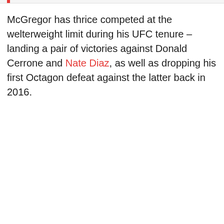McGregor has thrice competed at the welterweight limit during his UFC tenure – landing a pair of victories against Donald Cerrone and Nate Diaz, as well as dropping his first Octagon defeat against the latter back in 2016.